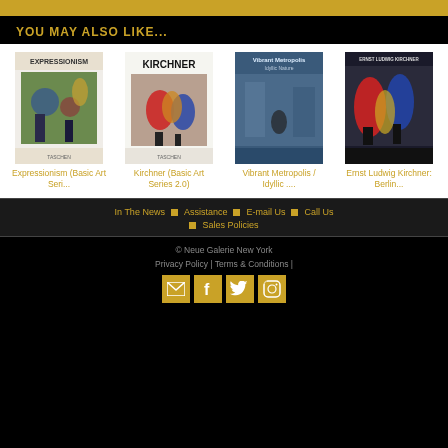YOU MAY ALSO LIKE...
[Figure (photo): Book cover: Expressionism (Basic Art Seri...)]
Expressionism (Basic Art Seri...
[Figure (photo): Book cover: Kirchner (Basic Art Series 2.0)]
Kirchner (Basic Art Series 2.0)
[Figure (photo): Book cover: Vibrant Metropolis / Idyllic Nature]
Vibrant Metropolis / Idyllic....
[Figure (photo): Book cover: Ernst Ludwig Kirchner: Berlin...]
Ernst Ludwig Kirchner: Berlin...
In The News  Assistance  E-mail Us  Call Us  Sales Policies
© Neue Galerie New York | Privacy Policy | Terms & Conditions |